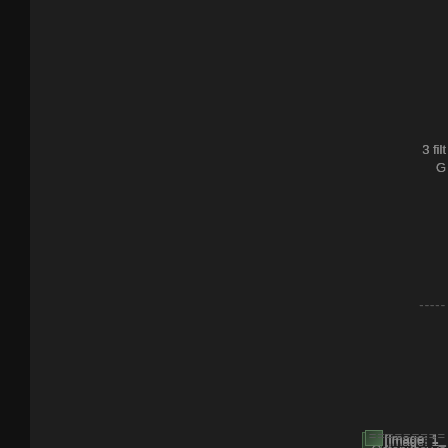3 filt
G
-----
[Figure (other): Broken image placeholder: [Image: 1_]
Octopussy is
-----
[Figure (other): Broken image placeholder: [Image: 1_]
Tremoloko is
=======